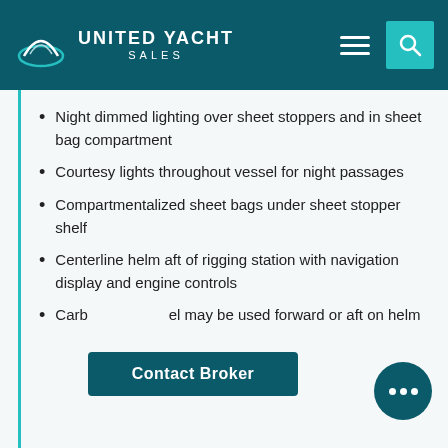UNITED YACHT SALES
Night dimmed lighting over sheet stoppers and in sheet bag compartment
Courtesy lights throughout vessel for night passages
Compartmentalized sheet bags under sheet stopper shelf
Centerline helm aft of rigging station with navigation display and engine controls
Carbon [panel] may be used forward or aft on helm